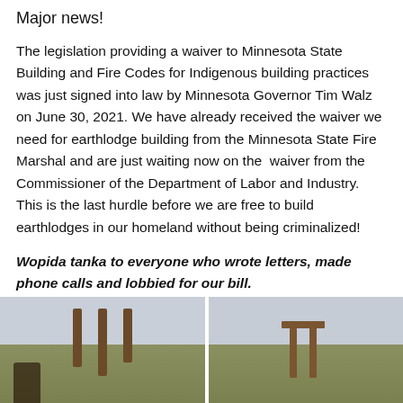Major news!
The legislation providing a waiver to Minnesota State Building and Fire Codes for Indigenous building practices was just signed into law by Minnesota Governor Tim Walz on June 30, 2021. We have already received the waiver we need for earthlodge building from the Minnesota State Fire Marshal and are just waiting now on the waiver from the Commissioner of the Department of Labor and Industry. This is the last hurdle before we are free to build earthlodges in our homeland without being criminalized!
Wopida tanka to everyone who wrote letters, made phone calls and lobbied for our bill.
[Figure (photo): Outdoor construction site showing wooden posts erected in an open landscape with sparse vegetation and overcast sky]
[Figure (photo): Outdoor construction site showing a wooden frame structure erected in an open landscape with sparse vegetation and overcast sky]